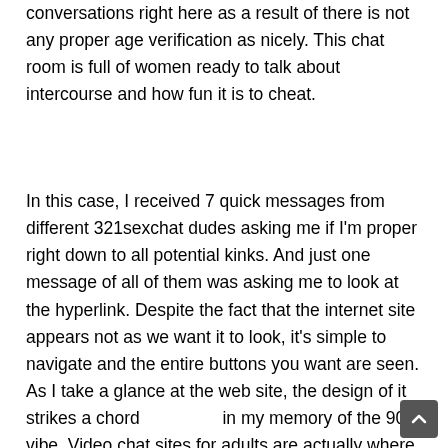conversations right here as a result of there is not any proper age verification as nicely. This chat room is full of women ready to talk about intercourse and how fun it is to cheat.
In this case, I received 7 quick messages from different 321sexchat dudes asking me if I'm proper right down to all potential kinks. And just one message of all of them was asking me to look at the hyperlink. Despite the fact that the internet site appears not as we want it to look, it's simple to navigate and the entire buttons you want are seen. As I take a glance at the web site, the design of it strikes a chord in my memory of the 90s vibe. Video chat sites for adults are actually where people are going over web relationship as a outcome of the worth is superior. People are fed up with scams and databases of faux singles or merely people who find themselves not severe about actual hookups they usually continue to move to webcam websites. Now you realize intimately, how 321sexchat works and appears like.